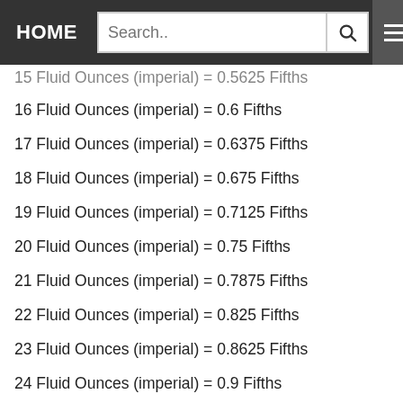HOME | Search..
15 Fluid Ounces (imperial) = 0.5625 Fifths
16 Fluid Ounces (imperial) = 0.6 Fifths
17 Fluid Ounces (imperial) = 0.6375 Fifths
18 Fluid Ounces (imperial) = 0.675 Fifths
19 Fluid Ounces (imperial) = 0.7125 Fifths
20 Fluid Ounces (imperial) = 0.75 Fifths
21 Fluid Ounces (imperial) = 0.7875 Fifths
22 Fluid Ounces (imperial) = 0.825 Fifths
23 Fluid Ounces (imperial) = 0.8625 Fifths
24 Fluid Ounces (imperial) = 0.9 Fifths
25 Fluid Ounces (imperial) = 0.9375 Fifths